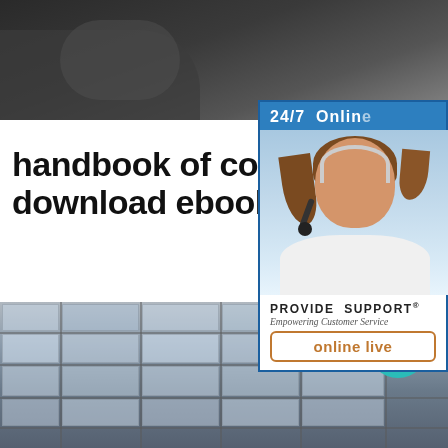[Figure (photo): Dark toned photo banner at top showing a person (partial, dark background)]
[Figure (infographic): Provide Support 24/7 Online customer service widget with a smiling woman wearing a headset, Chinese side tab reading 在线咨询, '24/7 Online' bar, PROVIDE SUPPORT® Empowering Customer Service branding, and 'online live' button]
handbook of codes free download ebook
[Figure (photo): Bottom photo of a building facade with window grid panels, muted grey-blue tones]
[Figure (other): Teal circular scroll-to-top button with upward arrow]